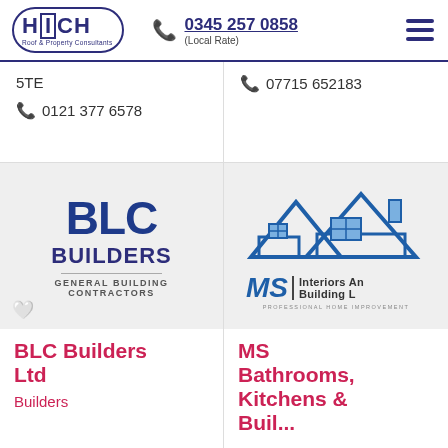HICH Roof & Property Consultants | 0345 257 0858 (Local Rate)
5TE
0121 377 6578
07715 652183
[Figure (logo): BLC Builders logo - large blue bold text BLC BUILDERS with GENERAL BUILDING CONTRACTORS subtitle]
BLC Builders Ltd
Builders
[Figure (logo): MS Interiors And Building Ltd logo - blue house graphic with MS brand and tagline PROFESSIONAL HOME IMPROVEMENT]
MS Bathrooms, Kitchens & Buil...